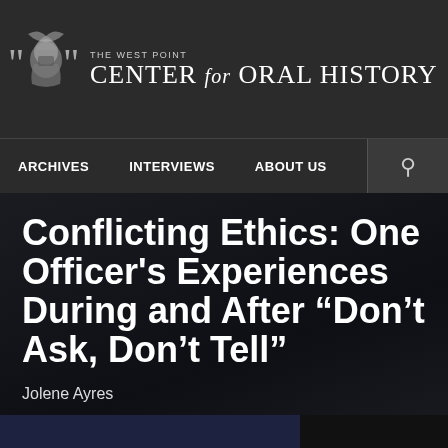[Figure (logo): The West Point Center for Oral History logo with shield emblem and stylized text]
ARCHIVES   INTERVIEWS   ABOUT US
Conflicting Ethics: One Officer's Experiences During and After “Don’t Ask, Don’t Tell”
Jolene Ayres
[Figure (photo): Partial blue-toned photo at the bottom of the page]